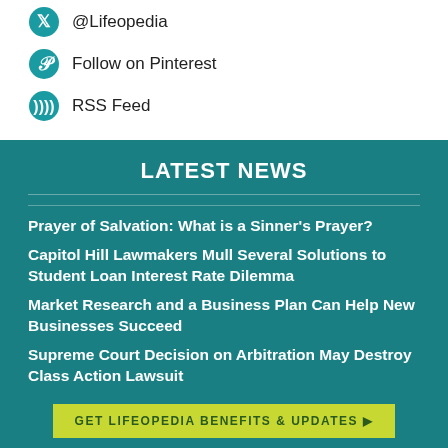@Lifeopedia
Follow on Pinterest
RSS Feed
LATEST NEWS
Prayer of Salvation: What is a Sinner's Prayer?
Capitol Hill Lawmakers Mull Several Solutions to Student Loan Interest Rate Dilemma
Market Research and a Business Plan Can Help New Businesses Succeed
Supreme Court Decision on Arbitration May Destroy Class Action Lawsuit
GET LIFEOPEDIA BENEFITS & UPDATES ▶
LIVE A CHOICE FILLED LIFE
Find what you should know, but didn't know to ask.